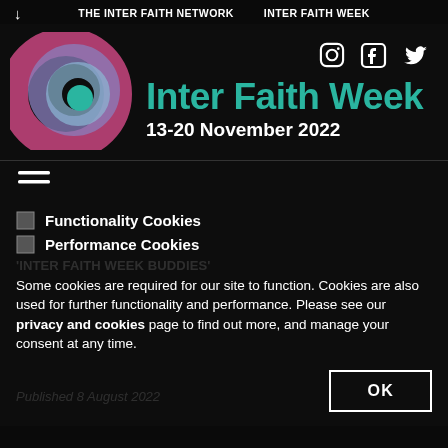THE INTER FAITH NETWORK | INTER FAITH WEEK
[Figure (logo): Inter Faith Week swirl logo with concentric colored circles]
Inter Faith Week
13-20 November 2022
[Figure (illustration): Hamburger menu icon (three horizontal lines)]
Functionality Cookies
Performance Cookies
Some cookies are required for our site to function. Cookies are also used for further functionality and performance. Please see our privacy and cookies page to find out more, and manage your consent at any time.